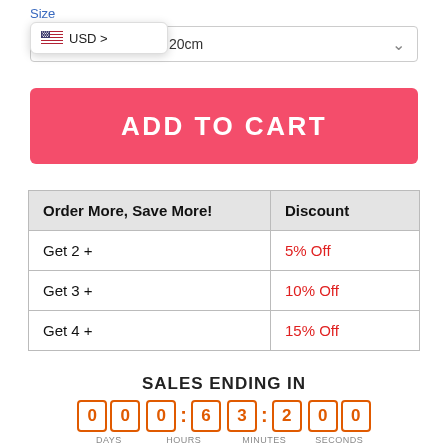Size
[Figure (screenshot): Currency selector dropdown showing US flag and USD > label]
x 20cm
ADD TO CART
| Order More, Save More! | Discount |
| --- | --- |
| Get 2 + | 5% Off |
| Get 3 + | 10% Off |
| Get 4 + | 15% Off |
SALES ENDING IN
00 06:32:00 DAYS HOURS MINUTES SECONDS